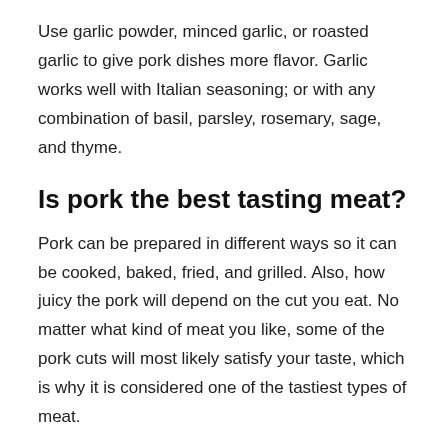Use garlic powder, minced garlic, or roasted garlic to give pork dishes more flavor. Garlic works well with Italian seasoning; or with any combination of basil, parsley, rosemary, sage, and thyme.
Is pork the best tasting meat?
Pork can be prepared in different ways so it can be cooked, baked, fried, and grilled. Also, how juicy the pork will depend on the cut you eat. No matter what kind of meat you like, some of the pork cuts will most likely satisfy your taste, which is why it is considered one of the tastiest types of meat.
How long should I boil pork